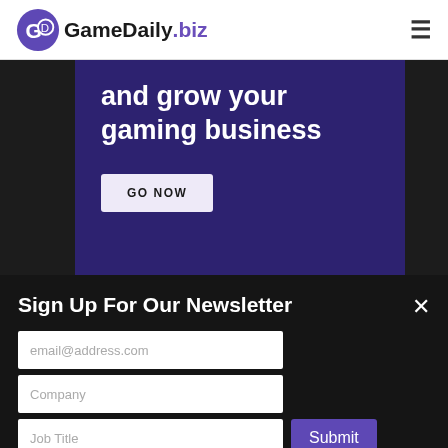GameDaily.biz
[Figure (screenshot): GameDaily.biz logo with purple game controller icon and hamburger menu on right]
and grow your gaming business
GO NOW
Sign Up For Our Newsletter
email@address.com
Company
Job Title
Submit